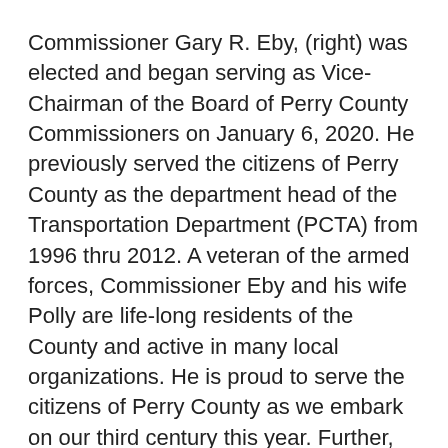Commissioner Gary R. Eby, (right) was elected and began serving as Vice-Chairman of the Board of Perry County Commissioners on January 6, 2020. He previously served the citizens of Perry County as the department head of the Transportation Department (PCTA) from 1996 thru 2012. A veteran of the armed forces, Commissioner Eby and his wife Polly are life-long residents of the County and active in many local organizations. He is proud to serve the citizens of Perry County as we embark on our third century this year. Further, he has an extensive and varied background working within the County of Perry in tourism, agriculture and construction industries. Commissioner Eby's goal is to seek progress by building on quality, established ground work to move forward in developing economic growth through smart planning and management. He is also a proponent